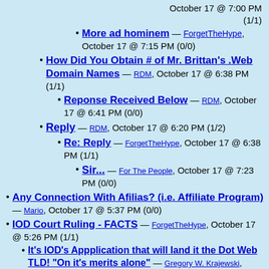October 17 @ 7:00 PM (1/1)
More ad hominem — ForgetTheHype, October 17 @ 7:15 PM (0/0)
How Did You Obtain # of Mr. Brittan's .Web Domain Names — RDM, October 17 @ 6:38 PM (1/1)
Reponse Received Below — RDM, October 17 @ 6:41 PM (0/0)
Reply — RDM, October 17 @ 6:20 PM (1/2)
Re: Reply — ForgetTheHype, October 17 @ 6:38 PM (1/1)
Sir... — For The People, October 17 @ 7:23 PM (0/0)
Any Connection With Afilias? (i.e. Affiliate Program) — Mario, October 17 @ 5:37 PM (0/0)
IOD Court Ruling - FACTS — ForgetTheHype, October 17 @ 5:26 PM (1/1)
It's IOD's Appplication that will land it the Dot Web TLD!  "On it's merits alone" — Gregory W. Krajewski, October 17 @ 7:03 PM (0/0)